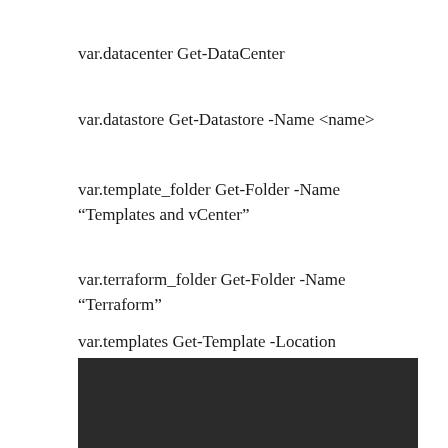var.datacenter Get-DataCenter
var.datastore Get-Datastore -Name <name>
var.template_folder Get-Folder -Name “Templates and vCenter”
var.terraform_folder Get-Folder -Name “Terraform”
var.templates Get-Template -Location $var.template_folder
var.terraform_vms Get-VM -Location $var.terraform_folder
[Figure (screenshot): Dark/black terminal or code screenshot area at the bottom of the page]